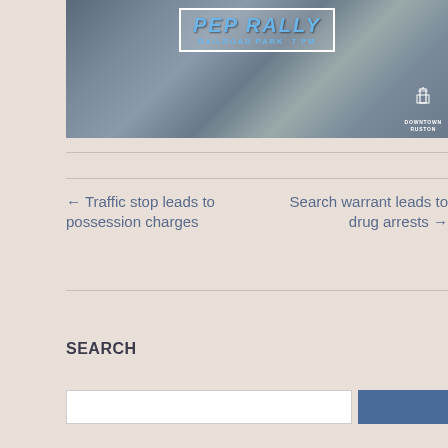[Figure (photo): A crowd of people at a rally with raised fists, overlaid with text 'PEP RALLY RAILROAD PARK 7 PM' in a blue banner, and a Downtown Ruston logo in the bottom right corner.]
← Traffic stop leads to possession charges
Search warrant leads to drug arrests →
SEARCH